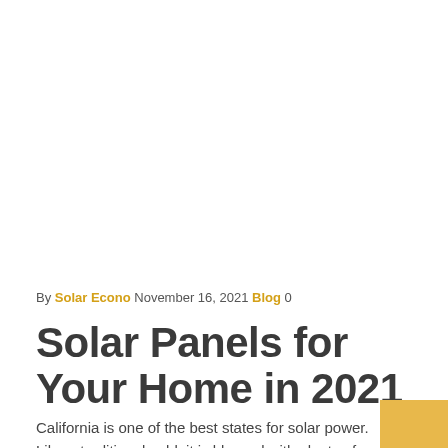By Solar Econo November 16, 2021 Blog 0
Solar Panels for Your Home in 2021
California is one of the best states for solar power. Like traditional gold, it is blessed with plenty of sunlight that